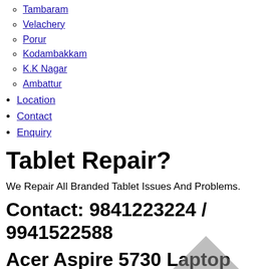Tambaram
Velachery
Porur
Kodambakkam
K.K Nagar
Ambattur
Location
Contact
Enquiry
Tablet Repair?
We Repair All Branded Tablet Issues And Problems.
Contact: 9841223224 / 9941522588
Acer Aspire 5730 Laptop Battery